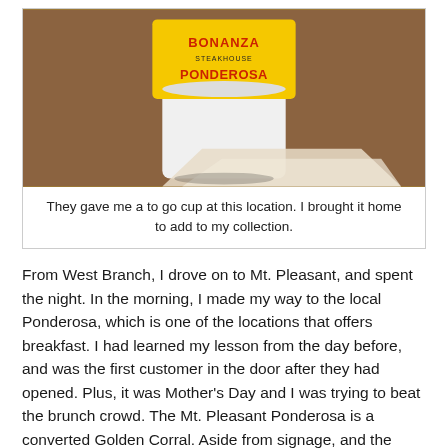[Figure (photo): A Bonanza / Ponderosa Steakhouse branded yellow and white to-go cup sitting on a wooden surface next to a napkin.]
They gave me a to go cup at this location. I brought it home to add to my collection.
From West Branch, I drove on to Mt. Pleasant, and spent the night. In the morning, I made my way to the local Ponderosa, which is one of the locations that offers breakfast. I had learned my lesson from the day before, and was the first customer in the door after they had opened. Plus, it was Mother's Day and I was trying to beat the brunch crowd. The Mt. Pleasant Ponderosa is a converted Golden Corral. Aside from signage, and the same buffet tables made to look like antique stoves, it feels like a Golden Corral.  I doubt the regulars here even noticed the change. The food is